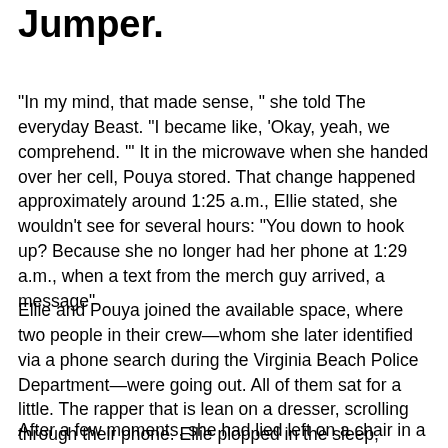Jumper.
“In my mind, that made sense, ” she told The everyday Beast. “I became like, ‘Okay, yeah, we comprehend. ’” It in the microwave when she handed over her cell, Pouya stored. That change happened approximately around 1:25 a.m., Ellie stated, she wouldn’t see for several hours: “You down to hook up? Because she no longer had her phone at 1:29 a.m., when a text from the merch guy arrived, a message”
Ellie and Pouya joined the available space, where two people in their crew—whom she later identified via a phone search during the Virginia Beach Police Department—were going out. All of them sat for a little. The rapper that is lean on a dresser, scrolling through their phone. Ellie plopped in the sleep, waiting. “I became the same as, ‘Okay, this is certainly boring. ’”
After a few moments, she had lied left on a chair in aetter side